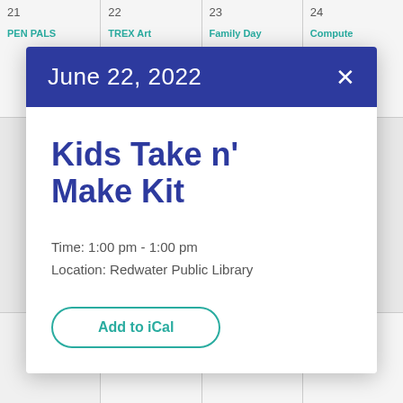21  22  23  24
PEN PALS
TREX Art
Family Day
Compute
June 22, 2022
Kids Take n' Make Kit
Time: 1:00 pm - 1:00 pm
Location: Redwater Public Library
Add to iCal
Beginner Guitar Lessons
Program
1:00 pm
Fairy Garden